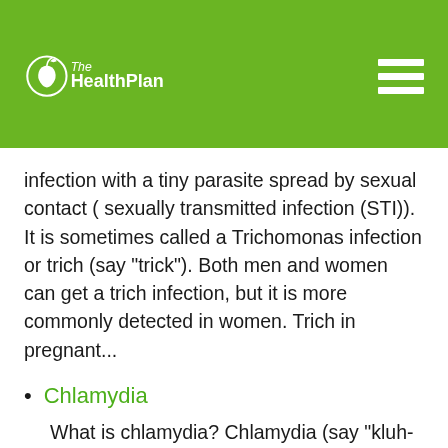[Figure (logo): The Health Plan logo with apple icon on green header background]
infection with a tiny parasite spread by sexual contact ( sexually transmitted infection (STI)). It is sometimes called a Trichomonas infection or trich (say "trick"). Both men and women can get a trich infection, but it is more commonly detected in women. Trich in pregnant...
Chlamydia
What is chlamydia? Chlamydia (say "kluh-MID-ee-uh") is an infection spread through sexual contact. This infection infects the urethra in men. In women, it infects the urethra and the